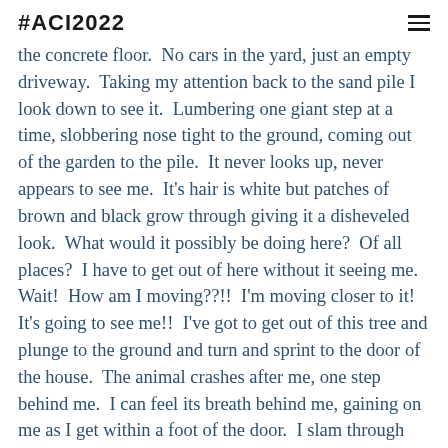#ACI2022
the concrete floor.  No cars in the yard, just an empty driveway.  Taking my attention back to the sand pile I look down to see it.  Lumbering one giant step at a time, slobbering nose tight to the ground, coming out of the garden to the pile.  It never looks up, never appears to see me.  It’s hair is white but patches of brown and black grow through giving it a disheveled look.  What would it possibly be doing here?  Of all places?  I have to get out of here without it seeing me.  Wait!  How am I moving??!!  I’m moving closer to it!  It’s going to see me!!  I’ve got to get out of this tree and plunge to the ground and turn and sprint to the door of the house.  The animal crashes after me, one step behind me.  I can feel its breath behind me, gaining on me as I get within a foot of the door.  I slam through